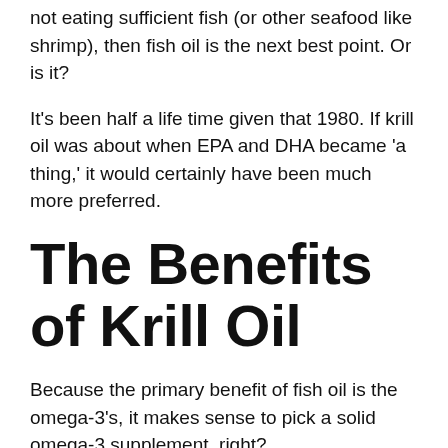not eating sufficient fish (or other seafood like shrimp), then fish oil is the next best point. Or is it?
It's been half a life time given that 1980. If krill oil was about when EPA and DHA became 'a thing,' it would certainly have been much more preferred.
The Benefits of Krill Oil
Because the primary benefit of fish oil is the omega-3's, it makes sense to pick a solid omega-3 supplement, right?
For a dietary supplement to be strong, your body has to use all of it. Things concerning